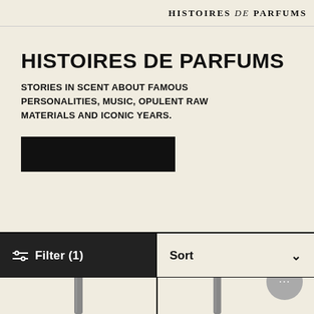HISTOIRES de PARFUMS
HISTOIRES DE PARFUMS
STORIES IN SCENT ABOUT FAMOUS PERSONALITIES, MUSIC, OPULENT RAW MATERIALS AND ICONIC YEARS.
[Figure (other): Black rectangular button/CTA element]
Filter (1)
Sort
[Figure (photo): Two perfume bottles partially visible at the bottom of the page in a two-column product grid layout, with a chat bubble icon in the lower right]
[Figure (other): Chat bubble icon with ellipsis]